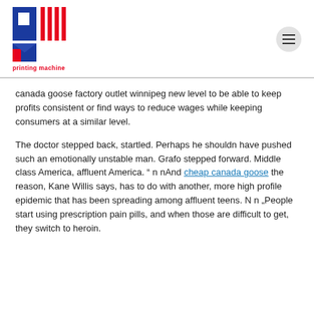[Figure (logo): Printing Machine logo with red and blue PM letters and vertical red stripes, with red text 'printing machine' below]
canada goose factory outlet winnipeg new level to be able to keep profits consistent or find ways to reduce wages while keeping consumers at a similar level.
The doctor stepped back, startled. Perhaps he shouldn have pushed such an emotionally unstable man. Grafo stepped forward. Middle class America, affluent America. " n nAnd cheap canada goose the reason, Kane Willis says, has to do with another, more high profile epidemic that has been spreading among affluent teens. N n „People start using prescription pain pills, and when those are difficult to get, they switch to heroin.